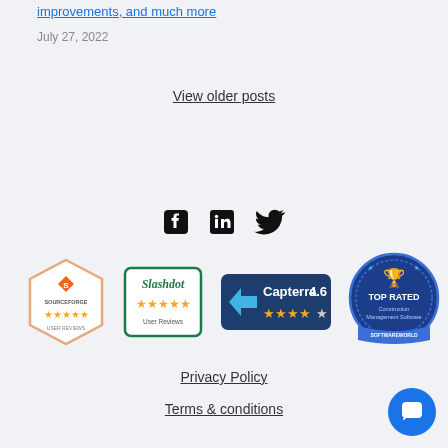improvements, and much more
July 27, 2022
View older posts
[Figure (other): Social media icons: Facebook, LinkedIn, Twitter]
[Figure (other): Award badges: SourceForge User Reviews, Slashdot User Reviews, Capterra 4.6, Top Rated Construction Management Software SoftwareWorld]
Privacy Policy
Terms & conditions